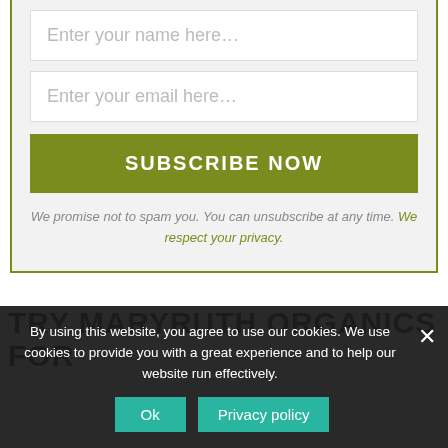[Figure (screenshot): Subscription form with name input field placeholder 'Enter your name here...']
[Figure (screenshot): Email input field with placeholder 'Enter your email here...']
[Figure (screenshot): Green 'SUBSCRIBE NOW' button]
We promise not to spam you. You can unsubscribe at any time. We respect your privacy.
TRY MARYRUTH ORGANICS FOR
By using this website, you agree to use our cookies. We use cookies to provide you with a great experience and to help our website run effectively.
Ok
Privacy policy